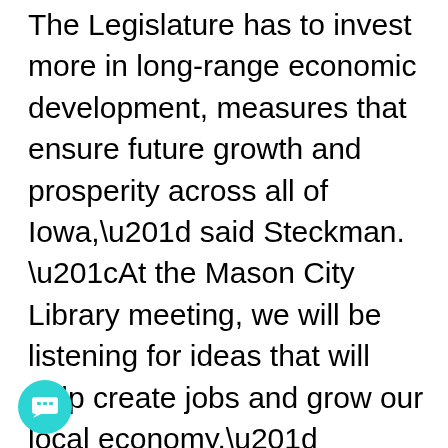The Legislature has to invest more in long-range economic development, measures that ensure future growth and prosperity across all of Iowa,” said Steckman. “At the Mason City Library meeting, we will be listening for ideas that will help create jobs and grow our local economy.”
The legislators encouraged people to bring their suggestions.